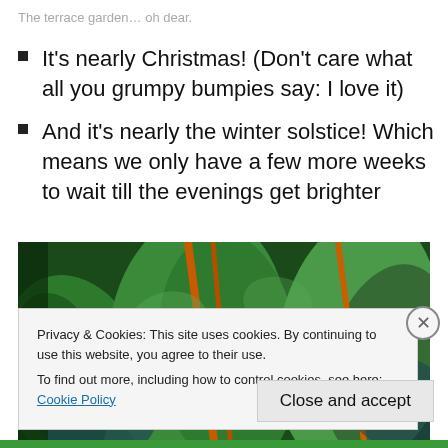The terrace garden… oh dear.
It's nearly Christmas! (Don't care what all you grumpy bumpies say: I love it)
And it's nearly the winter solstice! Which means we only have a few more weeks to wait till the evenings get brighter
[Figure (photo): Close-up photograph of large dark green leaves with orange/red veining — likely Swiss chard or similar leafy plant in a garden.]
Privacy & Cookies: This site uses cookies. By continuing to use this website, you agree to their use.
To find out more, including how to control cookies, see here: Cookie Policy
Close and accept